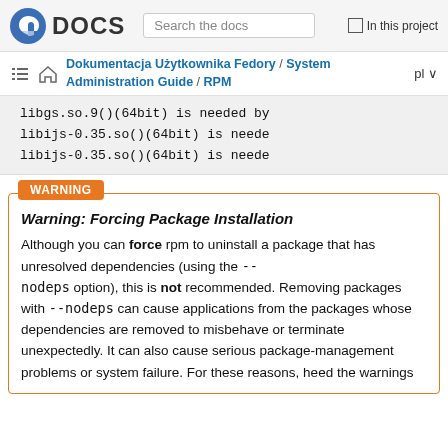DOCS — Search the docs | In this project
Dokumentacja Użytkownika Fedory / System Administration Guide / RPM  pl
libgs.so.9()(64bit) is needed by
libijs-0.35.so()(64bit) is neede
libijs-0.35.so()(64bit) is neede
WARNING
Warning: Forcing Package Installation
Although you can force rpm to uninstall a package that has unresolved dependencies (using the --nodeps option), this is not recommended. Removing packages with --nodeps can cause applications from the packages whose dependencies are removed to misbehave or terminate unexpectedly. It can also cause serious package-management problems or system failure. For these reasons, heed the warnings